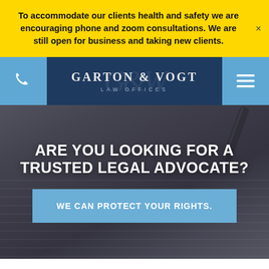To accommodate our clients health and safety we are encouraging phone and zoom consultations. We are still open for business and taking new clients.
[Figure (screenshot): Garton & Vogt Law Offices navigation bar with phone icon button on left, logo in center, and hamburger menu button on right, on dark navy background]
ARE YOU LOOKING FOR A TRUSTED LEGAL ADVOCATE?
WE CAN PROTECT YOUR RIGHTS.